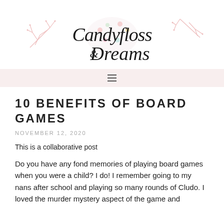[Figure (logo): Candyfloss & Dreams blog logo with decorative floral elements and script typography, pink branch decorations on sides]
≡
10 BENEFITS OF BOARD GAMES
NOVEMBER 12, 2020
This is a collaborative post
Do you have any fond memories of playing board games when you were a child? I do! I remember going to my nans after school and playing so many rounds of Cludo. I loved the murder mystery aspect of the game and